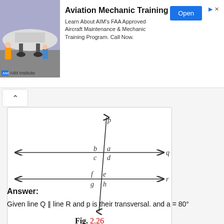[Figure (infographic): Advertisement banner for AIM Institute Aviation Mechanic Training with photo of aircraft maintenance workers, title, description text, and Open button]
[Figure (engineering-diagram): Geometry diagram showing two parallel horizontal lines q and r crossed by a transversal line p. Angles labeled a, b, c, d at the upper intersection and e, f, g, h at the lower intersection. Figure labeled Fig. 2.26]
Fig. 2.26
Answer:
Given line Q ∥ line R and p is their transversal. and a = 80°